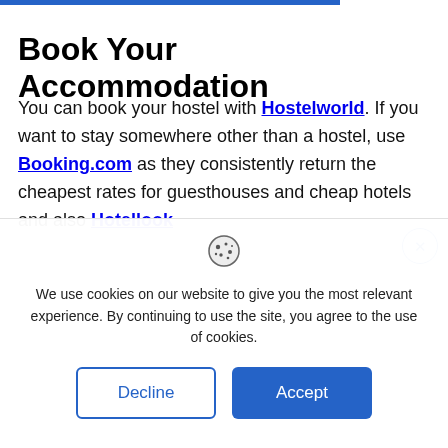Book Your Accommodation
You can book your hostel with Hostelworld. If you want to stay somewhere other than a hostel, use Booking.com as they consistently return the cheapest rates for guesthouses and cheap hotels and also Hotellook
[Figure (other): Cookie consent popup with cookie icon, message, Decline and Accept buttons, and a close (X) button]
We use cookies on our website to give you the most relevant experience. By continuing to use the site, you agree to the use of cookies.